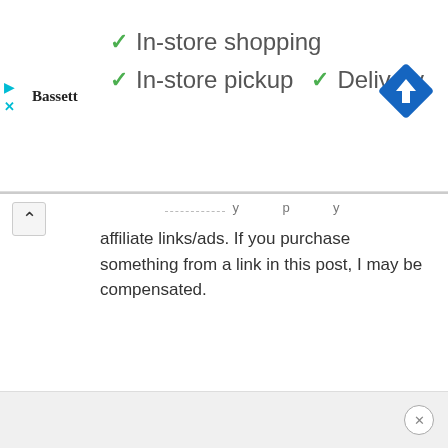[Figure (screenshot): Advertisement banner for Bassett furniture store showing store name logo on left, green checkmarks with services: In-store shopping, In-store pickup, Delivery, and a blue navigation/directions diamond icon on the right.]
affiliate links/ads. If you purchase something from a link in this post, I may be compensated.